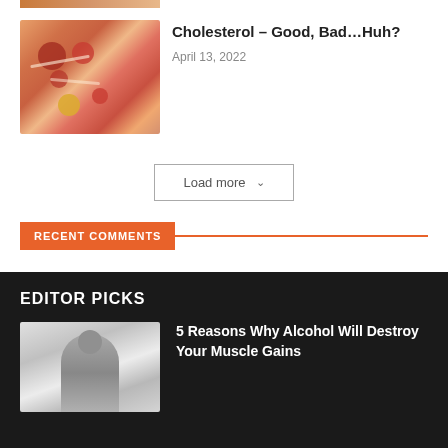[Figure (photo): Cropped top image - partial view of article thumbnail at top of page]
[Figure (photo): Medical illustration of cholesterol/blood vessel cross-section with red blood cells and lipid deposits]
Cholesterol – Good, Bad…Huh?
April 13, 2022
Load more
RECENT COMMENTS
Vegankart on 10 Top Healthy Foods To Keep You Fit
EDITOR PICKS
[Figure (photo): Man drinking from a bottle, visible from shoulders up]
5 Reasons Why Alcohol Will Destroy Your Muscle Gains